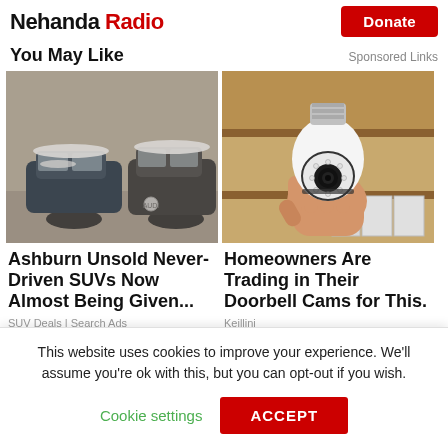Nehanda Radio
You May Like
Sponsored Links
[Figure (photo): Snow-covered Audi SUVs parked in a garage]
Ashburn Unsold Never-Driven SUVs Now Almost Being Given...
SUV Deals | Search Ads
[Figure (photo): A hand holding a white light bulb-shaped security camera]
Homeowners Are Trading in Their Doorbell Cams for This.
Keillini
This website uses cookies to improve your experience. We'll assume you're ok with this, but you can opt-out if you wish.
Cookie settings
ACCEPT